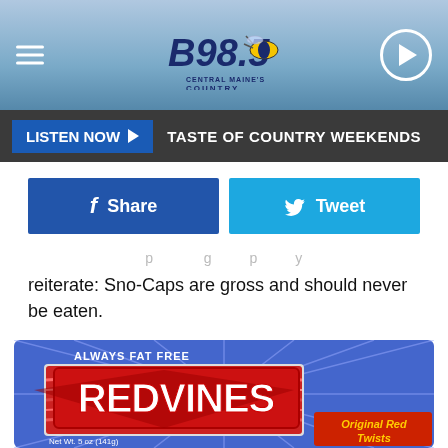[Figure (screenshot): B98.5 Central Maine Country radio station logo with wasp mascot]
LISTEN NOW ▶  TASTE OF COUNTRY WEEKENDS
[Figure (screenshot): Facebook Share and Twitter Tweet buttons]
reiterate: Sno-Caps are gross and should never be eaten.
[Figure (photo): Red Vines Original Red Twists candy box, Always Fat Free, Net Wt. 5 oz (141g)]